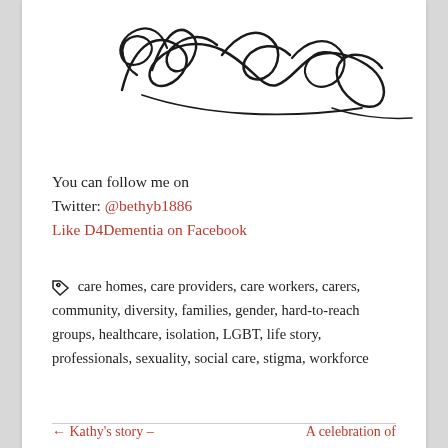[Figure (illustration): A handwritten cursive signature in black ink on white background]
You can follow me on
Twitter: @bethyb1886
Like D4Dementia on Facebook
care homes, care providers, care workers, carers, community, diversity, families, gender, hard-to-reach groups, healthcare, isolation, LGBT, life story, professionals, sexuality, social care, stigma, workforce
← Kathy's story –
A celebration of